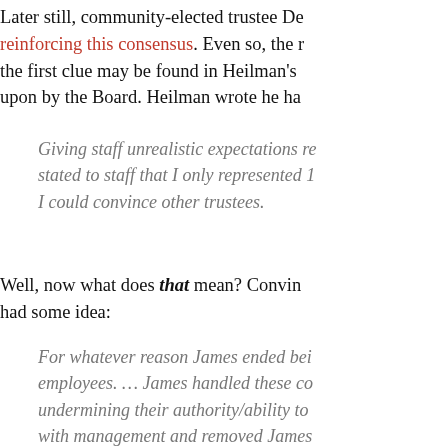Later still, community-elected trustee De… reinforcing this consensus. Even so, the first clue may be found in Heilman's … upon by the Board. Heilman wrote he ha…
Giving staff unrealistic expectations re… stated to staff that I only represented 1… I could convince other trustees.
Well, now what does that mean? Convin… had some idea:
For whatever reason James ended bei… employees. … James handled these co… undermining their authority/ability to … with management and removed James…
As far as I have seen, no Board member upon it in any way. Perhaps frustrated by pre-removal letter to the Board—in whic… second chance: